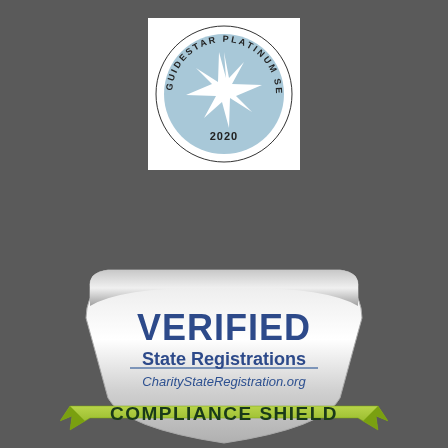[Figure (logo): GuideStar Platinum Seal of Transparency 2020 — circular blue badge with star burst in center, text around the ring reading GUIDESTAR PLATINUM SEAL OF TRANSPARENCY, year 2020 at the bottom]
[Figure (logo): Verified State Registrations Compliance Shield badge — silver shield shape with text VERIFIED State Registrations CharityStateRegistration.org, and a green ribbon banner at bottom reading COMPLIANCE SHIELD]